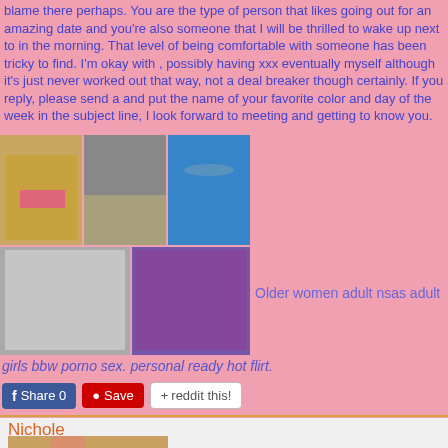blame there perhaps. You are the type of person that likes going out for an amazing date and you're also someone that I will be thrilled to wake up next to in the morning. That level of being comfortable with someone has been tricky to find. I'm okay with , possibly having xxx eventually myself although it's just never worked out that way, not a deal breaker though certainly. If you reply, please send a and put the name of your favorite color and day of the week in the subject line, I look forward to meeting and getting to know you.
[Figure (photo): Collage of women photos in various outfits]
Older women adult nsas adult
girls bbw porno sex. personal ready hot flirt.
Share 0  Save  reddit this!
Nichole
[Figure (photo): Portrait photo of a person]